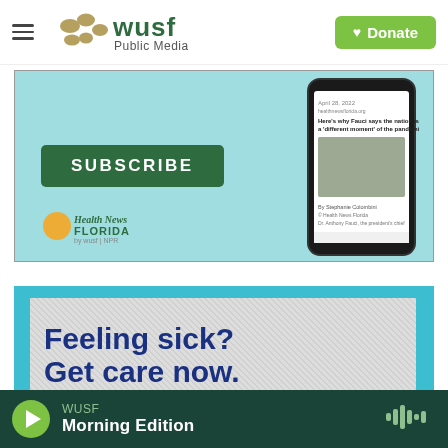[Figure (logo): WUSF Public Media logo with hamburger menu icon and green Donate button with heart]
[Figure (screenshot): Health News Florida newsletter subscription ad on light blue background with SUBSCRIBE button and phone mockup showing a health news article about Fauci]
[Figure (infographic): Advertisement with teal border and gray textured background reading 'Feeling sick? Get care now.' in dark blue bold text]
WUSF Morning Edition